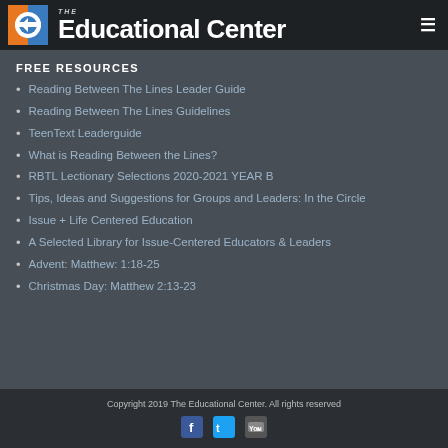The Educational Center
FREE RESOURCES
Reading Between The Lines Leader Guide
Reading Between The Lines Guidelines
TeenText Leaderguide
What is Reading Between the Lines?
RBTL Lectionary Selections 2020-2021 YEAR B
Tips, Ideas and Suggestions for Groups and Leaders: In the Circle
Issue + Life Centered Education
A Selected Library for Issue-Centered Educators & Leaders
Advent: Matthew: 1:18-25
Christmas Day: Matthew 2:13-23
Copyright 2019 The Educational Center. All rights reserved